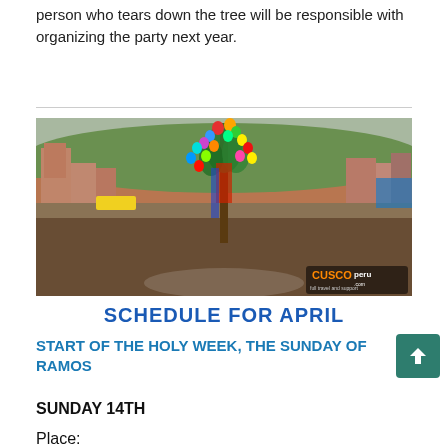person who tears down the tree will be responsible with organizing the party next year.
[Figure (photo): Festival scene in Cusco, Peru showing people in traditional clothing dancing in a circle around a tall tree decorated with colorful balloons. A crowd watches in the background with hills and brick buildings visible. CuscoPeru.com watermark in bottom right.]
SCHEDULE FOR APRIL
START OF THE HOLY WEEK, THE SUNDAY OF RAMOS
SUNDAY 14TH
Place: